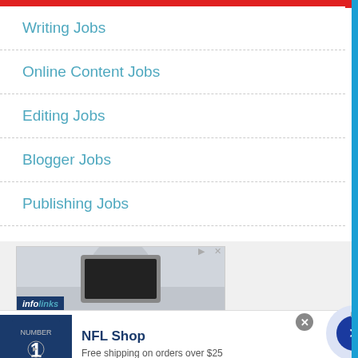Writing Jobs
Online Content Jobs
Editing Jobs
Blogger Jobs
Publishing Jobs
Telecommuting and flexible jobs at Flexjobs
[Figure (screenshot): Infolinks advertisement banner with a person using a device, showing infolinks logo at bottom left, with play and close controls at top right]
[Figure (screenshot): NFL Shop advertisement showing a Dallas Cowboys jersey, text 'NFL Shop', 'Free shipping on orders over $25', 'www.nflshop.com', with a close button and next arrow button]